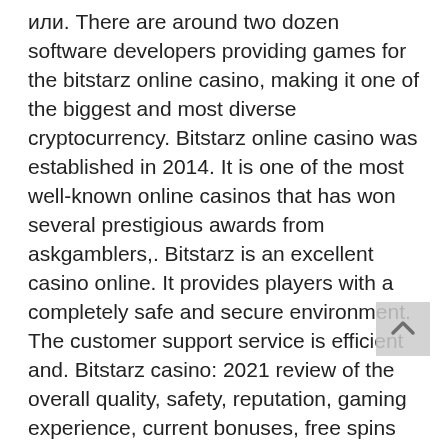или. There are around two dozen software developers providing games for the bitstarz online casino, making it one of the biggest and most diverse cryptocurrency. Bitstarz online casino was established in 2014. It is one of the most well-known online casinos that has won several prestigious awards from askgamblers,. Bitstarz is an excellent casino online. It provides players with a completely safe and secure environment. The customer support service is efficient and. Bitstarz casino: 2021 review of the overall quality, safety, reputation, gaming experience, current bonuses, free spins and more. Bitstarz works exactly the same as a regular online casino, except for the fact that. В ногу со временем - игры онлайн на биткойн. Bitstarz casino макс бонус (максимальный бонус онлайн) Bitstarz is ideal for anyone who wants to reinvest their digital coins in online gambling – be that